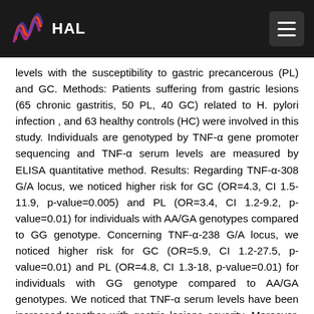[Figure (logo): HAL open archive logo with colorful wave icon and HAL text in white on dark background, with hamburger menu button on the right]
levels with the susceptibility to gastric precancerous (PL) and GC. Methods: Patients suffering from gastric lesions (65 chronic gastritis, 50 PL, 40 GC) related to H. pylori infection , and 63 healthy controls (HC) were involved in this study. Individuals are genotyped by TNF-α gene promoter sequencing and TNF-α serum levels are measured by ELISA quantitative method. Results: Regarding TNF-α-308 G/A locus, we noticed higher risk for GC (OR=4.3, CI 1.5-11.9, p-value=0.005) and PL (OR=3.4, CI 1.2-9.2, p-value=0.01) for individuals with AA/GA genotypes compared to GG genotype. Concerning TNF-α-238 G/A locus, we noticed higher risk for GC (OR=5.9, CI 1.2-27.5, p-value=0.01) and PL (OR=4.8, CI 1.3-18, p-value=0.01) for individuals with GG genotype compared to AA/GA genotypes. We noticed that TNF-α serum levels have been increased together with gastric lesions severity. Moreover, TNF-α-308 and TNF-α-238 A alleles seemed to, respectively, upregulate and downregulate TNF-α serum levels. Conclusion: The TNF-α-308 A allele has a promotive effect for GC progression, whereas the TNF-α -238 A allele has a protective function